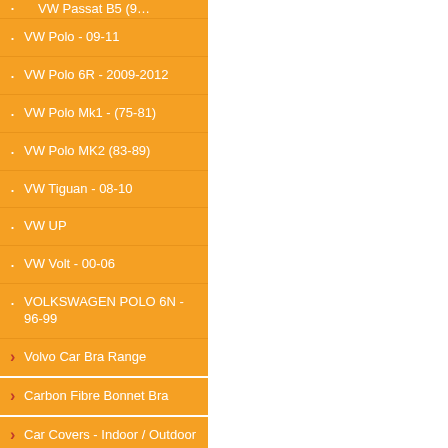VW Passat B5 (9…
VW Polo - 09-11
VW Polo 6R - 2009-2012
VW Polo Mk1 - (75-81)
VW Polo MK2 (83-89)
VW Tiguan - 08-10
VW UP
VW Volt - 00-06
VOLKSWAGEN POLO 6N - 96-99
Volvo Car Bra Range
Carbon Fibre Bonnet Bra
Car Covers - Indoor / Outdoor
Sat Nav+Speed Camera Detection
Speed Camera Detectors
Photoblocker